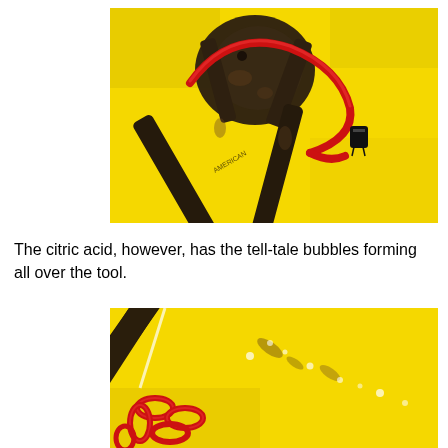[Figure (photo): Close-up photograph of a rusted metal tool (pliers/tongs) with a red wire or cable, placed against a bright yellow background. The tool appears to be submerged or treated in a chemical solution.]
The citric acid, however, has the tell-tale bubbles forming all over the tool.
[Figure (photo): Close-up photograph of rusted metal plier arms with a red chain, against a bright yellow background, showing the tool partially submerged in a chemical solution with bubbles forming.]